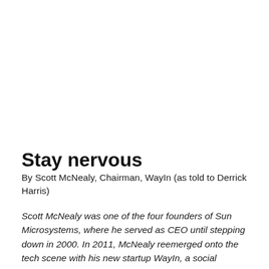Stay nervous
By Scott McNealy, Chairman, WayIn (as told to Derrick Harris)
Scott McNealy was one of the four founders of Sun Microsystems, where he served as CEO until stepping down in 2000. In 2011, McNealy reemerged onto the tech scene with his new startup WayIn, a social networking